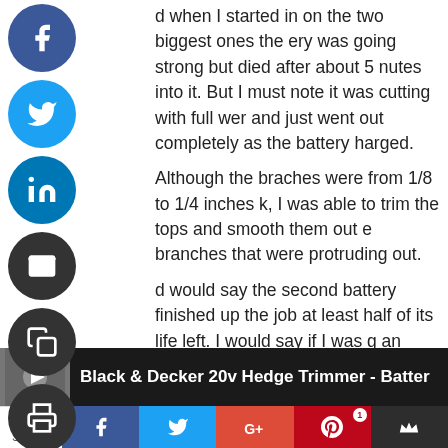d when I started in on the two biggest ones the ery was going strong but died after about 5 nutes into it. But I must note it was cutting with full wer and just went out completely as the battery harged.

Although the braches were from 1/8 to 1/4 inches k, I was able to trim the tops and smooth them out e branches that were protruding out.

d would say the second battery finished up the job at least half of its life left. I would say if I was g an average home with the average amount of hedges, I could have completed the task with one ery.

ow is a video to give you some visual on the duct that I used.
[Figure (screenshot): Video thumbnail showing Black & Decker 20v Hedge Trimmer with white text overlay]
1
Shares
[Figure (infographic): Bottom share bar with Facebook, Twitter, Google+, Pinterest (1 share), and crown icon buttons]